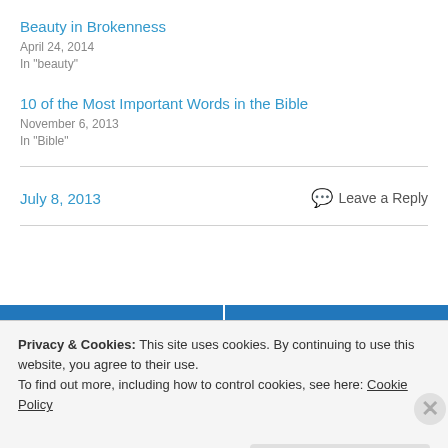Beauty in Brokenness
April 24, 2014
In "beauty"
10 of the Most Important Words in the Bible
November 6, 2013
In "Bible"
July 8, 2013
Leave a Reply
Previous
Next
Privacy & Cookies: This site uses cookies. By continuing to use this website, you agree to their use.
To find out more, including how to control cookies, see here: Cookie Policy
Close and accept